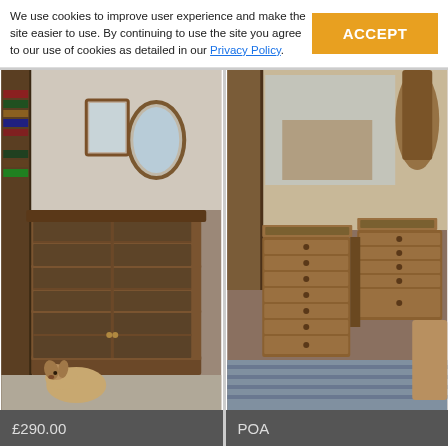We use cookies to improve user experience and make the site easier to use. By continuing to use the site you agree to our use of cookies as detailed in our Privacy Policy.
[Figure (photo): Antique wooden glazed bookcase with multiple glass-panelled sections and a small dog sitting in front, inside a furniture shop]
[Figure (photo): Antique mahogany pedestal desk with multiple drawers and leather top, displayed in an antique furniture shop]
£290.00
POA